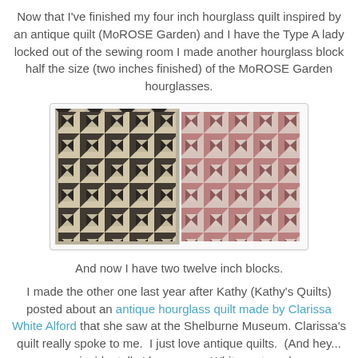Now that I've finished my four inch hourglass quilt inspired by an antique quilt (MoROSE Garden) and I have the Type A lady locked out of the sewing room I made another hourglass block half the size (two inches finished) of the MoROSE Garden hourglasses.
[Figure (photo): Two twelve-inch hourglass quilt blocks side by side. Left block uses dark (black/dark brown) and light (beige/tan) fabrics in an hourglass/pinwheel pattern. Right block uses reddish-brown/mauve and light blue/white fabrics in the same hourglass pattern.]
And now I have two twelve inch blocks.
I made the other one last year after Kathy (Kathy's Quilts) posted about an antique hourglass quilt made by Clarissa White Alford that she saw at the Shelburne Museum. Clarissa's quilt really spoke to me.  I just love antique quilts.  (And hey... coincidentally I have some White maternal